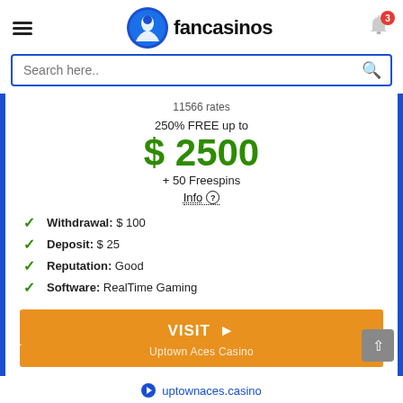fancasinos — hamburger menu, logo, notification bell with badge 3
Search here..
11566 rates
250% FREE up to
$ 2500
+ 50 Freespins
Info
Withdrawal: $ 100
Deposit: $ 25
Reputation: Good
Software: RealTime Gaming
VISIT ▶ Uptown Aces Casino
uptownaces.casino